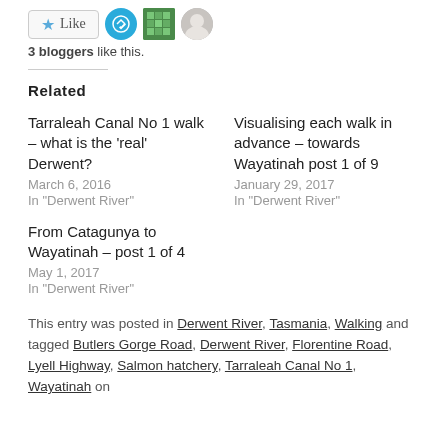[Figure (other): Like button with star icon, teal airplane avatar, green pattern avatar, and photo avatar]
3 bloggers like this.
Related
Tarraleah Canal No 1 walk – what is the 'real' Derwent?
March 6, 2016
In "Derwent River"
Visualising each walk in advance – towards Wayatinah post 1 of 9
January 29, 2017
In "Derwent River"
From Catagunya to Wayatinah – post 1 of 4
May 1, 2017
In "Derwent River"
This entry was posted in Derwent River, Tasmania, Walking and tagged Butlers Gorge Road, Derwent River, Florentine Road, Lyell Highway, Salmon hatchery, Tarraleah Canal No 1, Wayatinah on